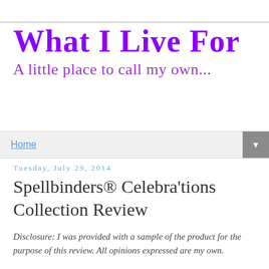What I Live For
A little place to call my own...
Home
Tuesday, July 29, 2014
Spellbinders® Celebra'tions Collection Review
Disclosure: I was provided with a sample of the product for the purpose of this review. All opinions expressed are my own.
In high school I got very involved in scrapbooking. I loved